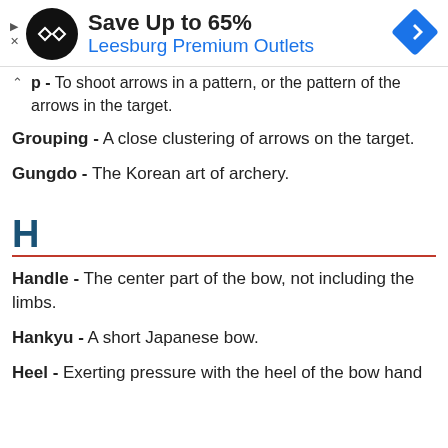[Figure (other): Advertisement banner: Save Up to 65% Leesburg Premium Outlets with logo and navigation icon]
p - To shoot arrows in a pattern, or the pattern of the arrows in the target.
Grouping - A close clustering of arrows on the target.
Gungdo - The Korean art of archery.
H
Handle - The center part of the bow, not including the limbs.
Hankyu - A short Japanese bow.
Heel - Exerting pressure with the heel of the bow hand